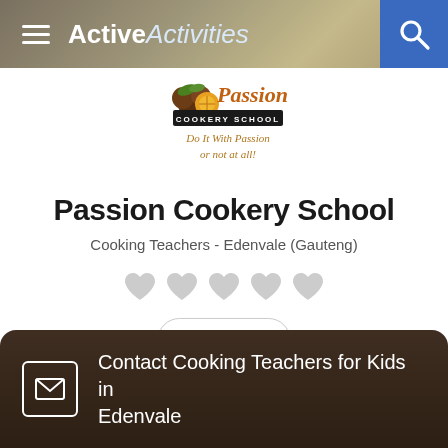ActiveActivities
[Figure (logo): Passion Cookery School logo with fruits and tagline 'Do It With Passion or not at all!']
Passion Cookery School
Cooking Teachers - Edenvale (Gauteng)
[Figure (other): Five grey heart icons representing rating]
Save
Contact Cooking Teachers for Kids in Edenvale